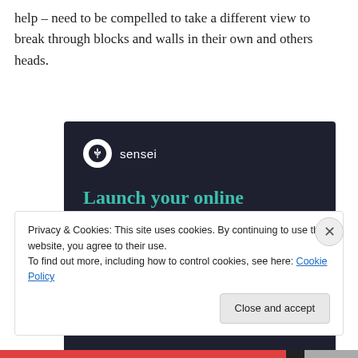help – need to be compelled to take a different view to break through blocks and walls in their own and others heads.
[Figure (illustration): Sensei advertisement banner on dark navy background. Shows Sensei logo (tree icon in white circle) with tagline 'Launch your online course with WordPress' in teal text and a teal 'Learn More' button.]
Privacy & Cookies: This site uses cookies. By continuing to use this website, you agree to their use.
To find out more, including how to control cookies, see here: Cookie Policy
Close and accept